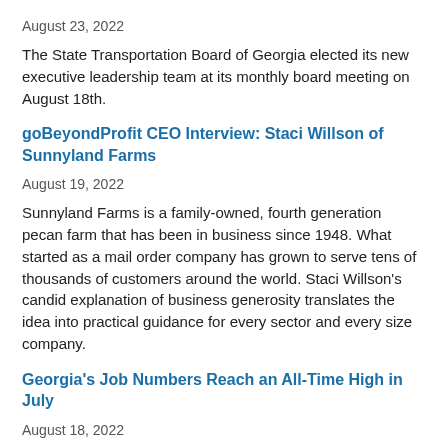August 23, 2022
The State Transportation Board of Georgia elected its new executive leadership team at its monthly board meeting on August 18th.
goBeyondProfit CEO Interview: Staci Willson of Sunnyland Farms
August 19, 2022
Sunnyland Farms is a family-owned, fourth generation pecan farm that has been in business since 1948. What started as a mail order company has grown to serve tens of thousands of customers around the world. Staci Willson's candid explanation of business generosity translates the idea into practical guidance for every sector and every size company.
Georgia's Job Numbers Reach an All-Time High in July
August 18, 2022